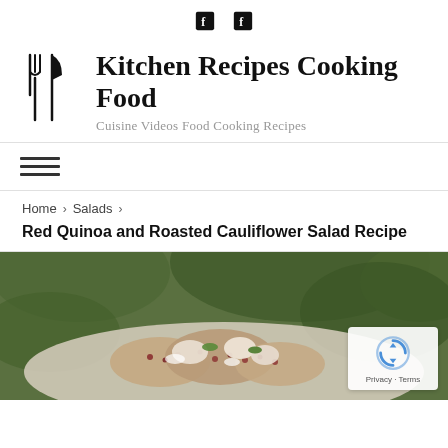Facebook social icons (two)
Kitchen Recipes Cooking Food
Cuisine Videos Food Cooking Recipes
[Figure (logo): Fork and knife utensils icon in black]
Hamburger menu icon (three horizontal lines)
Home > Salads >
Red Quinoa and Roasted Cauliflower Salad Recipe
[Figure (photo): Close-up photo of red quinoa and roasted cauliflower salad on a plate, with green foliage background. reCAPTCHA badge visible in bottom-right corner.]